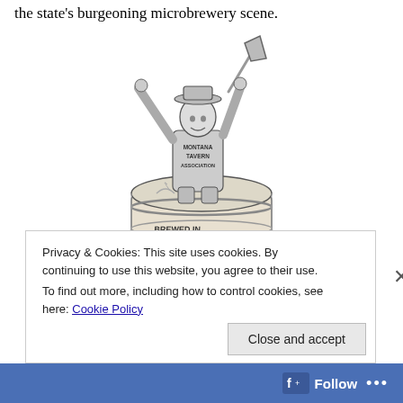the state's burgeoning microbrewery scene.
[Figure (illustration): A black-and-white pen sketch of a man wearing a hat and a shirt labeled 'MONTANA TAVERN ASSOCIATION', swinging an axe overhead down toward a wooden barrel labeled 'BREWED IN MONTANA'. The barrel has liquid splashing from where the axe has struck.]
Privacy & Cookies: This site uses cookies. By continuing to use this website, you agree to their use.
To find out more, including how to control cookies, see here: Cookie Policy
Close and accept
Follow ...